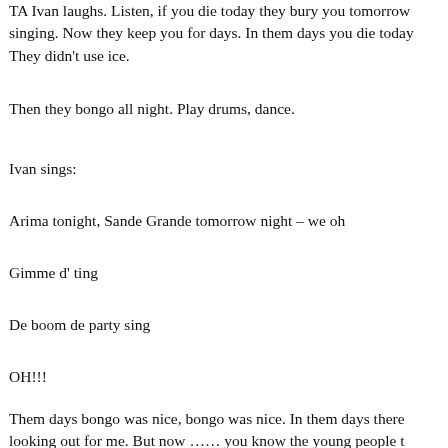TA Ivan laughs. Listen, if you die today they bury you tomorrow singing. Now they keep you for days. In them days you die toda… They didn't use ice.
Then they bongo all night. Play drums, dance.
Ivan sings:
Arima tonight, Sande Grande tomorrow night – we oh
Gimme d' ting
De boom de party sing
OH!!!
Them days bongo was nice, bongo was nice. In them days there… looking out for me. But now …… you know the young people t… yesterday. Young people yesterday they had more respect, every…